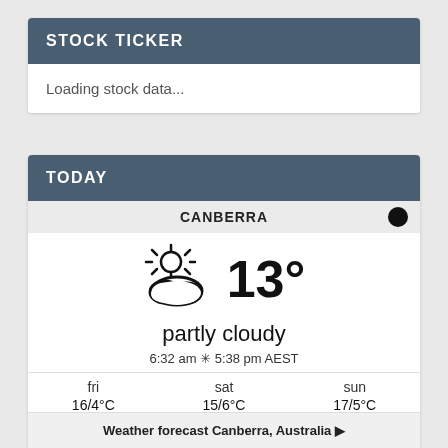STOCK TICKER
Loading stock data...
TODAY
CANBERRA
[Figure (illustration): Partly cloudy weather icon with sun, large, next to temperature 13°]
partly cloudy
6:32 am ☀ 5:38 pm AEST
fri
16/4°C
sat
15/6°C
sun
17/5°C
Weather forecast Canberra, Australia ▶